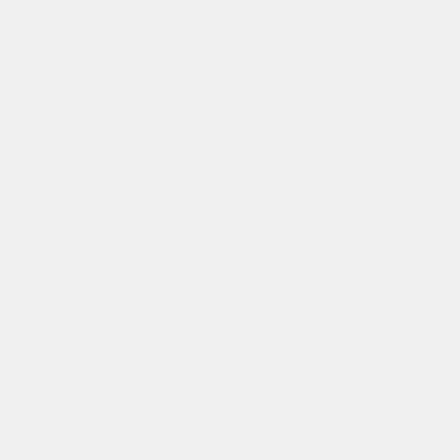There are, of course, not buildin Bunting House. And maybe Frank w have made. On the other hand, t anonymous face(s) hiding behind matte
On Thursday December 13 the jud the appeals. On Friday morning, insuring nobody would be changing the crew was back out to
In two days, another piece of Rox reduced to a pile of rubble. The o able to car
The Giovannonis, as best we know food restaurants
See the 5901 Ridge Ave>
After two months of meetings, G unable to find a buyer for their lo Roxborough Civic Association, Ma